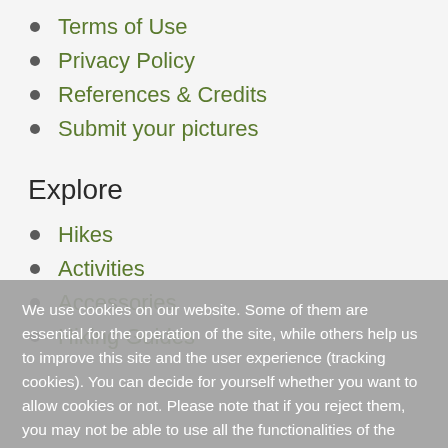Terms of Use
Privacy Policy
References & Credits
Submit your pictures
Explore
Hikes
Activities
Accessories
Hiking Guides
We use cookies on our website. Some of them are essential for the operation of the site, while others help us to improve this site and the user experience (tracking cookies). You can decide for yourself whether you want to allow cookies or not. Please note that if you reject them, you may not be able to use all the functionalities of the site.
OK
DECLINE
More information